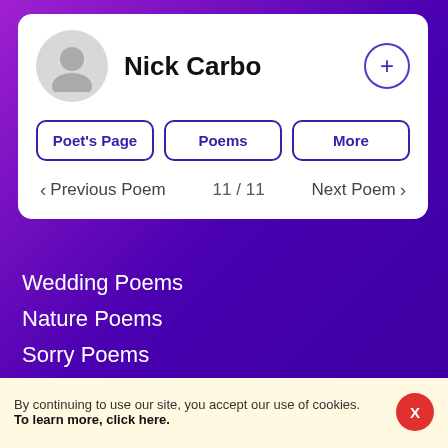Nick Carbo
Poet's Page
Poems
More
Previous Poem  11 / 11  Next Poem
Wedding Poems
Nature Poems
Sorry Poems
Hero Poems
Poetry E-Books
By continuing to use our site, you accept our use of cookies. To learn more, click here.